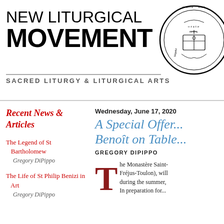NEW LITURGICAL MOVEMENT
SACRED LITURGY & LITURGICAL ARTS
[Figure (logo): Circular seal/emblem with Latin text and decorative religious imagery]
Recent News & Articles
The Legend of St Bartholomew
Gregory DiPippo
The Life of St Philip Benizi in Art
Gregory DiPippo
Wednesday, June 17, 2020
A Special Offer... Benoît on Table...
GREGORY DIPIPPO
The Monastère Saint... Fréjus-Toulon), will... during the summer, In preparation for...